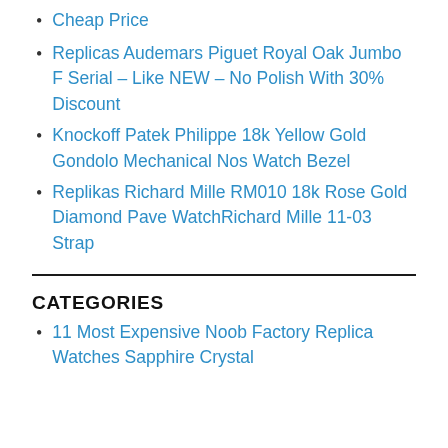Cheap Price
Replicas Audemars Piguet Royal Oak Jumbo F Serial – Like NEW – No Polish With 30% Discount
Knockoff Patek Philippe 18k Yellow Gold Gondolo Mechanical Nos Watch Bezel
Replikas Richard Mille RM010 18k Rose Gold Diamond Pave WatchRichard Mille 11-03 Strap
CATEGORIES
11 Most Expensive Noob Factory Replica Watches Sapphire Crystal